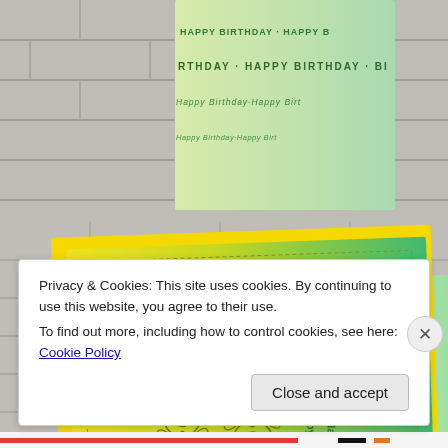[Figure (photo): Top partial photo showing a birthday card with text 'HAPPY BIRTHDAY' repeated in green/teal on a gray/white background with brick tiles visible.]
[Figure (photo): Main photo showing a handmade greeting card with daisy/flower stamp artwork. The card has a yellow-to-green ombre background with outline floral stamping and 'Happy Birthday' text on the right side. Card is placed on a white tile/brick surface. Another card with repeated 'HAPPY BIRTHDAY' text is partially visible underneath.]
Privacy & Cookies: This site uses cookies. By continuing to use this website, you agree to their use.
To find out more, including how to control cookies, see here: Cookie Policy